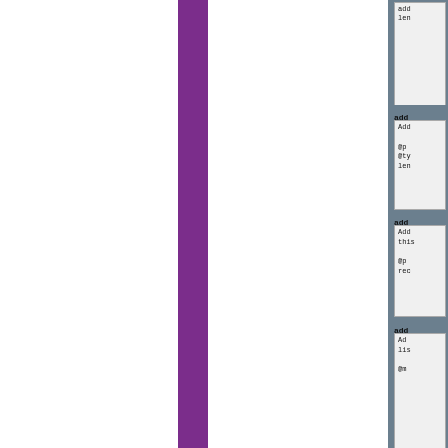add
len
add
Add
@p
@ty
len
add
Add
this
@p
rec
add
Ad
lis
@m